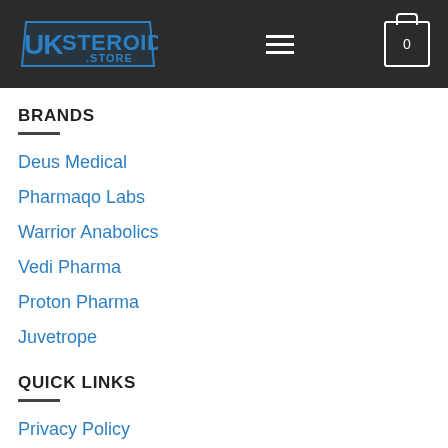Primobolan
[Figure (logo): UK Steroids Store logo with blue text on dark background]
BRANDS
Deus Medical
Pharmaqo Labs
Warrior Anabolics
Vedi Pharma
Proton Pharma
Juvetrope
QUICK LINKS
Privacy Policy